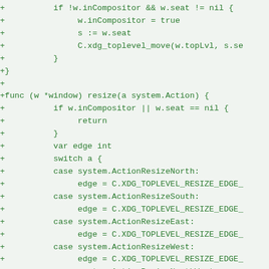[Figure (screenshot): Code diff snippet in Go showing window compositor and resize functions with green-colored added lines on a light green background]